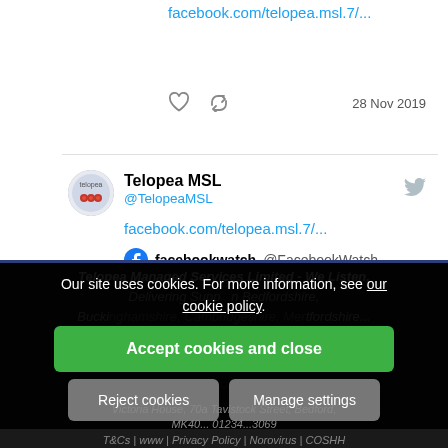facebook.com/telopea.msl.7/...
28 Nov 2019
Telopea MSL
@TelopeaMSL
facebook.com/telopea.msl.7/...
facebookwatch @FacebookWatch
Telopea Managed Services Limited - We Listen, Delivering Supp... in Bedfordshire, Buckinghamshire, Cambridgeshire, Hertfordshire, Victoria House, 70a Tavistock Street, Bedford, MK40... 01234...3069 T&Cs | www | Privacy Policy | Norovirus | COSHH
Our site uses cookies. For more information, see our cookie policy.
Accept cookies and close
Reject cookies
Manage settings